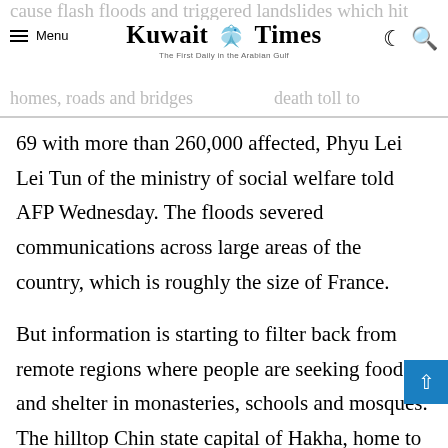Kuwait Times — The First Daily in the Arabian Gulf
cause flash floods and triggered landslides which hit homes, roads and bridges. ... death toll to
69 with more than 260,000 affected, Phyu Lei Lei Tun of the ministry of social welfare told AFP Wednesday. The floods severed communications across large areas of the country, which is roughly the size of France.
But information is starting to filter back from remote regions where people are seeking food and shelter in monasteries, schools and mosques. The hilltop Chin state capital of Hakha, home to about 40,000 people, is still only accessible by helicopter a week after a series of landslides saw walls of saturated earth collapse onto